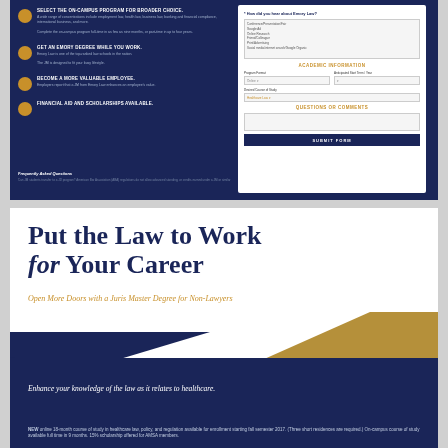[Figure (screenshot): Top half of a law school website (Emory Law) with dark navy blue background. Left column shows four bullet points with orange circle icons about on-campus program features. Right side shows a white contact/inquiry form with fields for how you heard about Emory Law, academic information, program format, anticipated start term/year, desired course of study, questions or comments text area, and a Submit Form button.]
Put the Law to Work for Your Career
Open More Doors with a Juris Master Degree for Non-Lawyers
Enhance your knowledge of the law as it relates to healthcare.
NEW online 18-month course of study in healthcare law, policy, and regulation available for enrollment starting fall semester 2017. (Three short residences are required.) On-campus course of study available full time in 9 months. 15% scholarship offered for AMSA members.